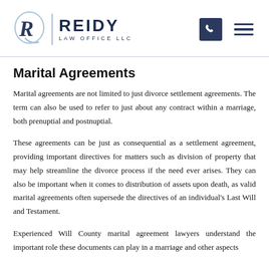[Figure (logo): Reidy Law Office LLC logo with stylized R letter mark, vertical divider, and firm name text]
Marital Agreements
Marital agreements are not limited to just divorce settlement agreements. The term can also be used to refer to just about any contract within a marriage, both prenuptial and postnuptial.
These agreements can be just as consequential as a settlement agreement, providing important directives for matters such as division of property that may help streamline the divorce process if the need ever arises. They can also be important when it comes to distribution of assets upon death, as valid marital agreements often supersede the directives of an individual's Last Will and Testament.
Experienced Will County marital agreement lawyers understand the important role these documents can play in a marriage and other aspects